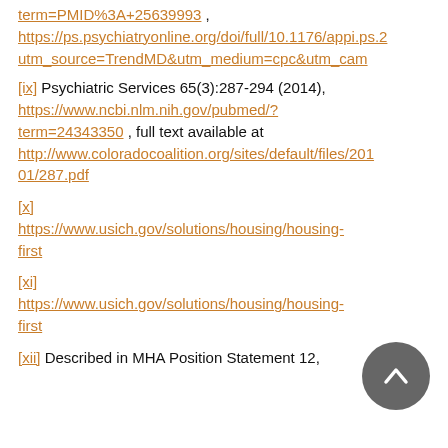term=PMID%3A+25639993 , https://ps.psychiatryonline.org/doi/full/10.1176/appi.ps.2 utm_source=TrendMD&utm_medium=cpc&utm_cam
[ix] Psychiatric Services 65(3):287-294 (2014), https://www.ncbi.nlm.nih.gov/pubmed/?term=24343350 , full text available at http://www.coloradocoalition.org/sites/default/files/201 01/287.pdf
[x] https://www.usich.gov/solutions/housing/housing-first
[xi] https://www.usich.gov/solutions/housing/housing-first
[xii] Described in MHA Position Statement 12,